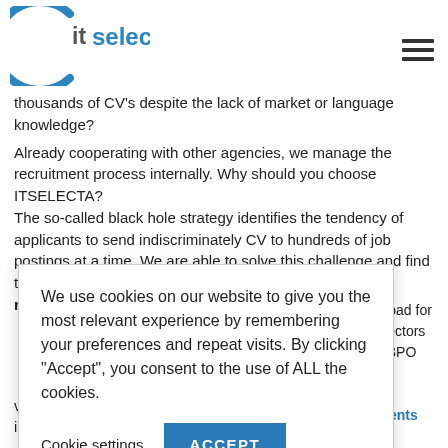[Figure (logo): itselecta logo with blue circular bracket and blue text]
thousands of CV's despite the lack of market or language knowledge?
Already cooperating with other agencies, we manage the recruitment process internally. Why should you choose ITSELECTA?
The so-called black hole strategy identifies the tendency of applicants to send indiscriminately CV to hundreds of job postings at a time. We are able to solve this challenge and find the right candidate for your company with our customized recruitment services.
We use cookies on our website to give you the most relevant experience by remembering your preferences and repeat visits. By clicking “Accept”, you consent to the use of ALL the cookies.
Cookie settings   ACCEPT
...id and abroad for ...different sectors ...oduction, BPO and SSC environments
...ve proceed. This includes setting up deadlines and milestones.